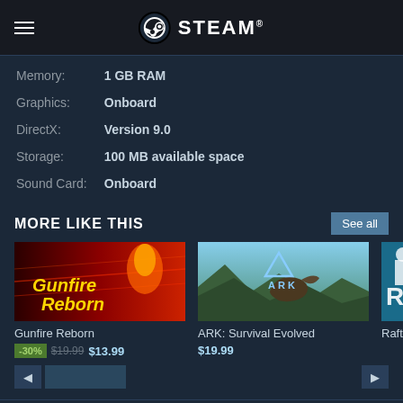STEAM
Memory:  1 GB RAM
Graphics:  Onboard
DirectX:  Version 9.0
Storage:  100 MB available space
Sound Card:  Onboard
MORE LIKE THIS
[Figure (screenshot): Gunfire Reborn game thumbnail]
Gunfire Reborn
-30% $19.99 $13.99
[Figure (screenshot): ARK: Survival Evolved game thumbnail]
ARK: Survival Evolved
$19.99
[Figure (screenshot): Raft game thumbnail (partially visible)]
CUSTOMER REVIEWS